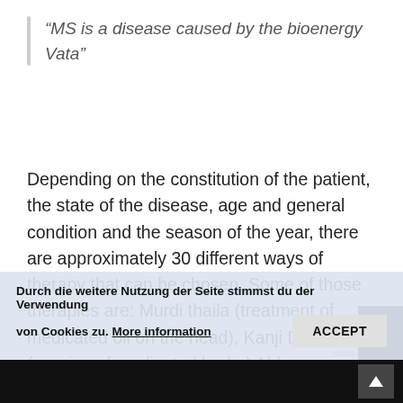“MS is a disease caused by the bioenergy Vata”
Depending on the constitution of the patient, the state of the disease, age and general condition and the season of the year, there are approximately 30 different ways of therapy that can be chosen. Some of those therapies are: Murdi thaila (treatment of medicated oil on the head), Kanji Dhara (pouring of medicated herbs) Abhyanga (massage), Shiro Dhara (pouring medicated oil on the forehead), Shiro Vasti (approx. 11 medicated herbal oils are in contact with the scalp by the help of a leather hat), Kizhimassage w... in a cloth), Thaila Dhara (oil treatment over the entire body), Pizhichil (variation of
Durch die weitere Nutzung der Seite stimmst du der Verwendung von Cookies zu. More information
ACCEPT